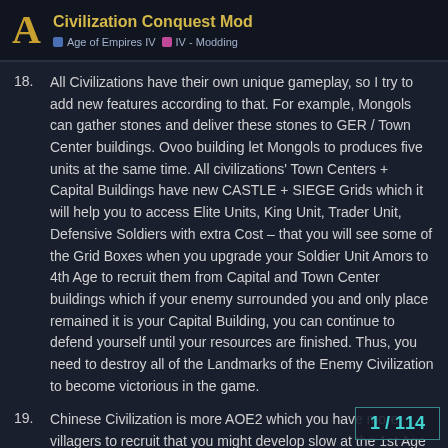Civilization Conquest Mod | Age of Empires IV | IV - Modding
18. All Civilizations have their own unique gameplay, so I try to add new features according to that. For example, Mongols can gather stones and deliver these stones to GER / Town Center buildings. Ovoo building let Mongols to produces five units at the same time. All civilizations' Town Centers + Capital Buildings have new CASTLE + SIEGE Grids which it will help you to access Elite Units, King Unit, Trader Unit, Defensive Soldiers with extra Cost – that you will see some of the Grid Boxes when you upgrade your Soldier Unit Amors to 4th Age to recruit them from Capital and Town Center buildings which if your enemy surrounded you and only place remained it is your Capital Building, you can continue to defend yourself until your resources are finished. Thus, you need to destroy all of the Landmarks of the Enemy Civilization to become victorious in the game.
19. Chinese Civilization is more AOE2 which you have more villagers to recruit that you might develop slow at the 1st Age until you have enough villagers to gathe... FOOD. Do... However, Chinese Civilization has the fastest economy in the...
1 / 114